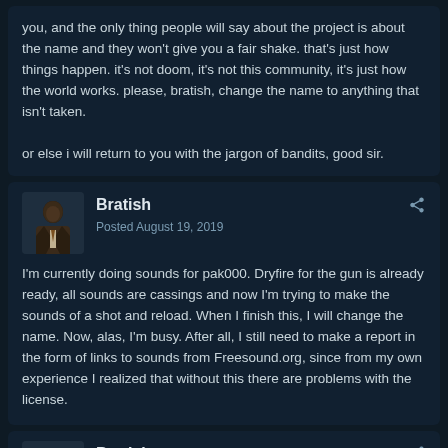you, and the only thing people will say about the project is about the name and they won't give you a fair shake. that's just how things happen. it's not doom, it's not this community, it's just how the world works. please, bratish, change the name to anything that isn't taken.

or else i will return to you with the jargon of bandits, good sir.
Bratish
Posted August 19, 2019
I'm currently doing sounds for pak000. Dryfire for the gun is already ready, all sounds are cassings and now I'm trying to make the sounds of a shot and reload. When I finish this, I will change the name. Now, alas, I'm busy. After all, I still need to make a report in the form of links to sounds from Freesound.org, since from my own experience I realized that without this there are problems with the license.
Bratish
Posted August 19, 2019